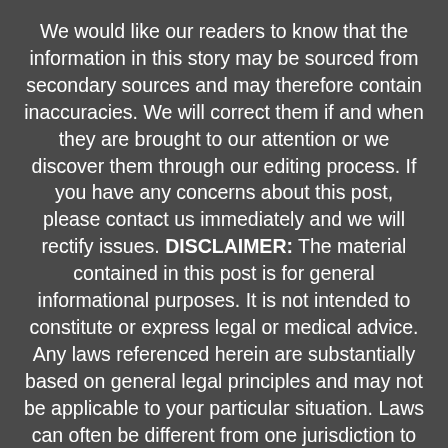We would like our readers to know that the information in this story may be sourced from secondary sources and may therefore contain inaccuracies. We will correct them if and when they are brought to our attention or we discover them through our editing process. If you have any concerns about this post, please contact us immediately and we will rectify issues. DISCLAIMER: The material contained in this post is for general informational purposes. It is not intended to constitute or express legal or medical advice. Any laws referenced herein are substantially based on general legal principles and may not be applicable to your particular situation. Laws can often be different from one jurisdiction to the next. The Legal Herald is not a law firm. Law firms and lawyers from around the country may apply to become a sponsor or contributor to The Legal Herald.